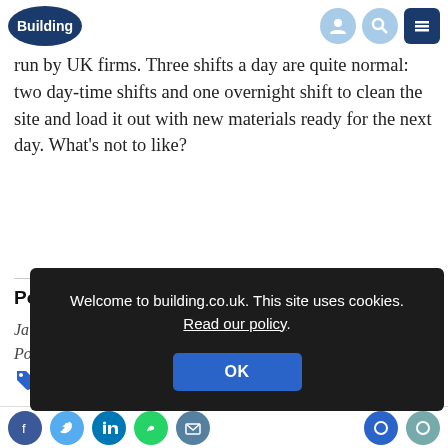Building — navigation bar with logo, user, search, and menu icons
run by UK firms. Three shifts a day are quite normal: two day-time shifts and one overnight shift to clean the site and load it out with new materials ready for the next day. What's not to like?
Postscript
Ja...
Po...
Welcome to building.co.uk. This site uses cookies. Read our policy.
Social sharing icons: Facebook, Twitter, LinkedIn, WhatsApp, Email